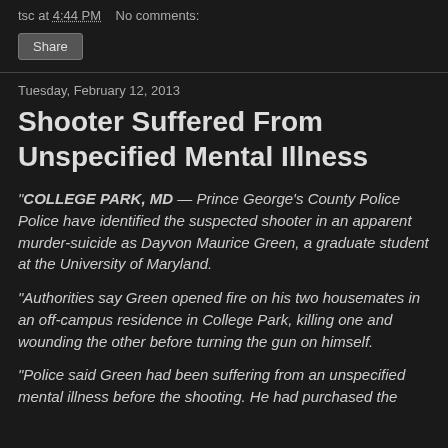tsc at 4:44 PM   No comments:
Share
Tuesday, February 12, 2013
Shooter Suffered From Unspecified Mental Illness
"COLLEGE PARK, MD — Prince George's County Police Police have identified the suspected shooter in an apparent murder-suicide as Dayvon Maurice Green, a graduate student at the University of Maryland.
"Authorities say Green opened fire on his two housemates in an off-campus residence in College Park, killing one and wounding the other before turning the gun on himself.
"Police said Green had been suffering from an unspecified mental illness before the shooting. He had purchased the